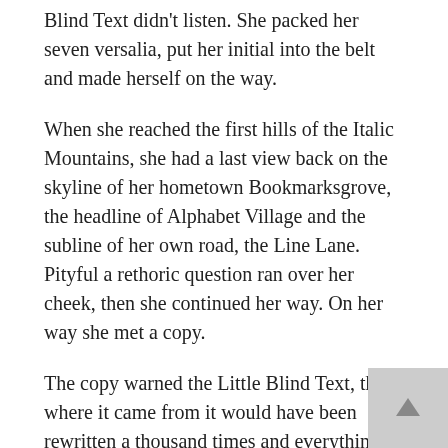Blind Text didn't listen. She packed her seven versalia, put her initial into the belt and made herself on the way.
When she reached the first hills of the Italic Mountains, she had a last view back on the skyline of her hometown Bookmarksgrove, the headline of Alphabet Village and the subline of her own road, the Line Lane. Pityful a rethoric question ran over her cheek, then she continued her way. On her way she met a copy.
The copy warned the Little Blind Text, that where it came from it would have been rewritten a thousand times and everything that was left from its origin would be the word “and” and the Little Blind Text should turn around and return to its own, safe country. But nothing the copy said could convince her and so it didn’t take long until a few insidious Copy